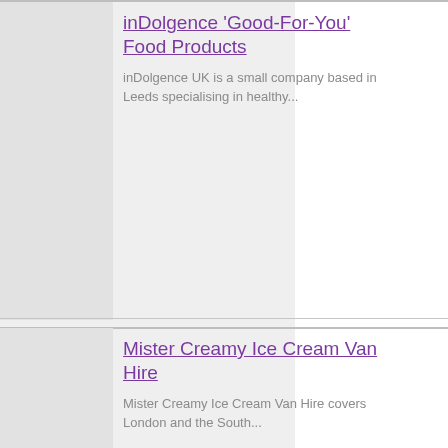inDolgence 'Good-For-You' Food Products
inDolgence UK is a small company based in Leeds specialising in healthy...
Mister Creamy Ice Cream Van Hire
Mister Creamy Ice Cream Van Hire covers London and the South...
Really Scrumptious
We sell Donuts, Crepes, Waffles, Slush. Hot & Cold Drinks, Milkshakes,...
Charlie Owen Events - Craft, Country, Food